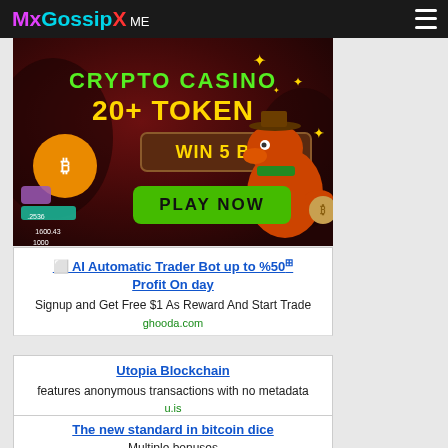MxGossipX ME
[Figure (infographic): Crypto casino advertisement banner. Dark red background with a cartoon dinosaur wearing a cowboy hat. Text: CRYPTO CASINO, 20+ TOKEN, WIN 5 BTC, PLAY NOW button in green.]
⬜ AI Automatic Trader Bot up to %50 Profit On day
Signup and Get Free $1 As Reward And Start Trade
ghooda.com
Utopia Blockchain
features anonymous transactions with no metadata
u.is
The new standard in bitcoin dice
Multiple bonuses